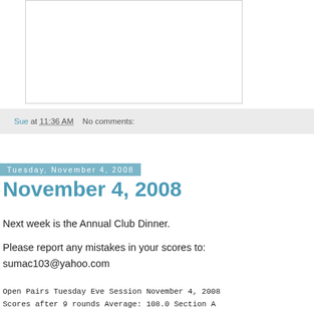[Figure (other): Empty comment/text input box with border]
Sue at 11:36 AM    No comments:
Tuesday, November 4, 2008
November 4, 2008
Next week is the Annual Club Dinner.

Please report any mistakes in your scores to: sumac103@yahoo.com
Open Pairs Tuesday Eve Session November 4, 2008
Scores after  9 rounds  Average:  108.0      Section A